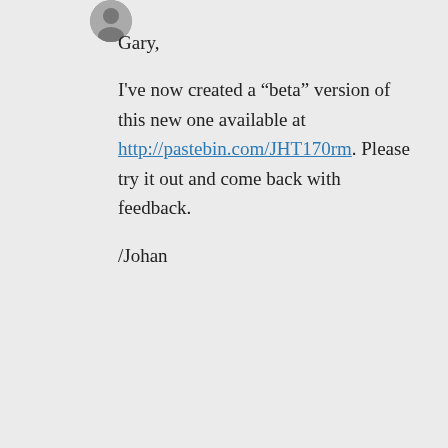[Figure (photo): Small circular avatar/profile photo thumbnail at top]
Gary,

I've now created a “beta” version of this new one available at http://pastebin.com/JHT170rm. Please try it out and come back with feedback.

/Johan
↪ Reply
Privacy & Cookies: This site uses cookies. By continuing to use this website, you agree to their use.
To find out more, including how to control cookies, see here: Cookie Policy